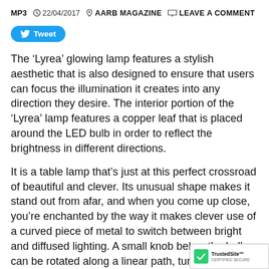MP3  22/04/2017  AARB MAGAZINE  LEAVE A COMMENT
[Figure (other): Twitter Tweet button (blue rounded pill button with bird icon)]
The ‘Lyrea’ glowing lamp features a stylish aesthetic that is also designed to ensure that users can focus the illumination it creates into any direction they desire. The interior portion of the ‘Lyrea’ lamp features a copper leaf that is placed around the LED bulb in order to reflect the brightness in different directions.
It is a table lamp that’s just at this perfect crossroad of beautiful and clever. Its unusual shape makes it stand out from afar, and when you come up close, you’re enchanted by the way it makes clever use of a curved piece of metal to switch between bright and diffused lighting. A small knob below the bulb can be rotated along a linear path, turning the curved metal piece inside (mimicking the action of an ambu beacon). You simply rotate the knob to adjust the it